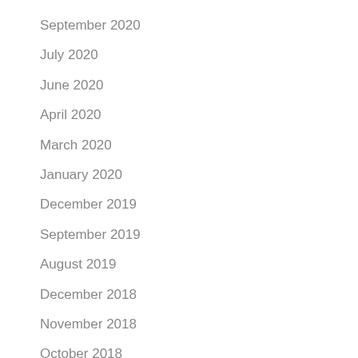September 2020
July 2020
June 2020
April 2020
March 2020
January 2020
December 2019
September 2019
August 2019
December 2018
November 2018
October 2018
August 2018